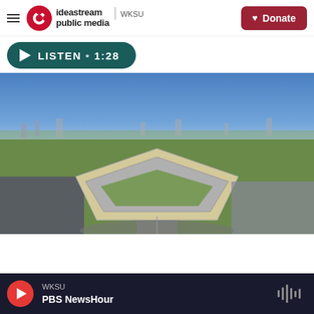ideastream public media WKSU | Donate
[Figure (screenshot): Listen audio player button showing LISTEN • 1:28 in teal rounded pill button]
[Figure (photo): Aerial photograph of the Pentagon building in Arlington, Virginia, showing its five-sided structure with a blue sky and Washington DC skyline in the background]
WKSU PBS NewsHour — player bar with play button and waveform icon